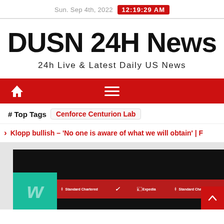Sun. Sep 4th, 2022  12:19:29 AM
DUSN 24H News
24h Live & Latest Daily US News
[Figure (screenshot): Red navigation bar with white home icon on left and hamburger menu icon in center]
# Top Tags  Cenforce Centurion Lab
Klopp bullish – 'No one is aware of what we will obtain' | F
[Figure (screenshot): Partial video player showing Liverpool FC content with sponsor logos including LFCTV GO, Standard Chartered, Nike, Expedia on red bar, and a teal section with white lettering visible at bottom left]